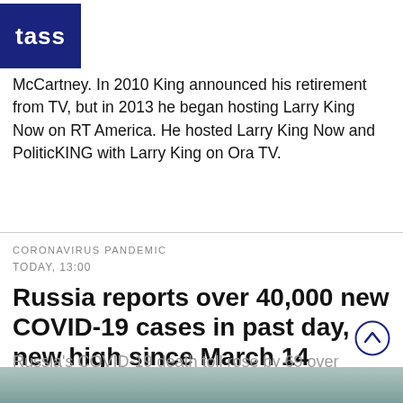TASS
McCartney. In 2010 King announced his retirement from TV, but in 2013 he began hosting Larry King Now on RT America. He hosted Larry King Now and PoliticKING with Larry King on Ora TV.
CORONAVIRUS PANDEMIC
TODAY, 13:00
Russia reports over 40,000 new COVID-19 cases in past day, new high since March 14
Russia's COVID-19 death toll rose by 69 over the past day